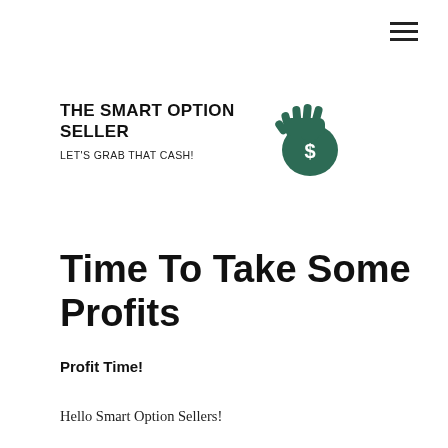[Figure (illustration): Hamburger menu icon (three horizontal lines) in top right corner]
THE SMART OPTION SELLER
LET'S GRAB THAT CASH!
[Figure (illustration): Green hand holding a money bag with a dollar sign, illustrated logo for The Smart Option Seller]
Time To Take Some Profits
Profit Time!
Hello Smart Option Sellers!